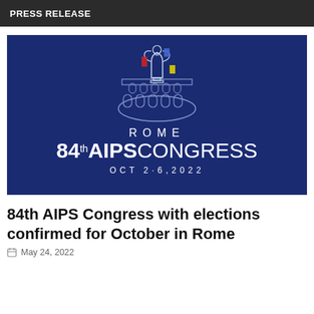PRESS RELEASE
[Figure (logo): Dark navy blue banner image with AIPS Congress logo. Shows a stylized Colosseum illustration with sports trophy and colored flags (red, blue, yellow). Text reads: ROME, 84th AIPS CONGRESS, OCT 2-6, 2022]
84th AIPS Congress with elections confirmed for October in Rome
May 24, 2022